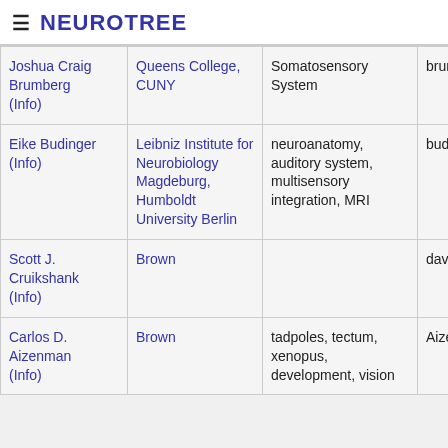≡ NEUROTREE
| Joshua Craig Brumberg (Info) | Queens College, CUNY | Somatosensory System | brumberg |
| Eike Budinger (Info) | Leibniz Institute for Neurobiology Magdeburg, Humboldt University Berlin | neuroanatomy, auditory system, multisensory integration, MRI | budinger |
| Scott J. Cruikshank (Info) | Brown |  | david |
| Carlos D. Aizenman (Info) | Brown | tadpoles, tectum, xenopus, development, vision | Aizenman |